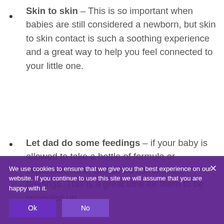Skin to skin – This is so important when babies are still considered a newborn, but skin to skin contact is such a soothing experience and a great way to help you feel connected to your little one.
Let dad do some feedings – if your baby is allowed to take a bottle of formula or expressed milk, let dad do some of the feedings. This is a great time for them to be snuggled up
We use cookies to ensure that we give you the best experience on our website. If you continue to use this site we will assume that you are happy with it.